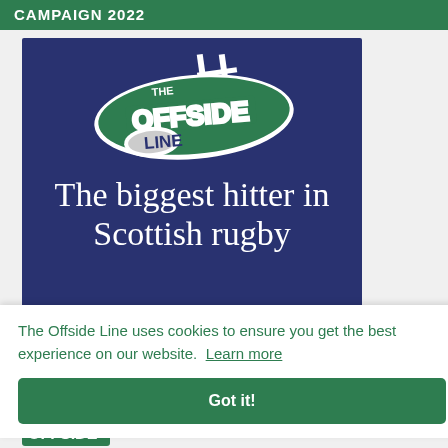CAMPAIGN 2022
[Figure (logo): The Offside Line logo on dark navy blue background with rugby posts, plus large white text 'The biggest hitter in Scottish rugby']
The Offside Line uses cookies to ensure you get the best experience on our website. Learn more
Got it!
[Figure (logo): The Offside Line small logo at bottom]